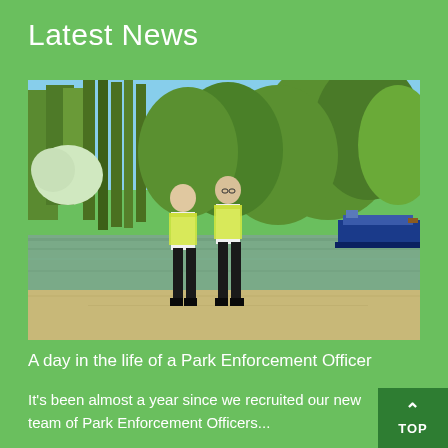Latest News
[Figure (photo): Two park enforcement officers in hi-vis vests standing on a sandy riverbank with trees and a moored narrowboat in the background on a sunny day.]
A day in the life of a Park Enforcement Officer
It's been almost a year since we recruited our new team of Park Enforcement Officers...